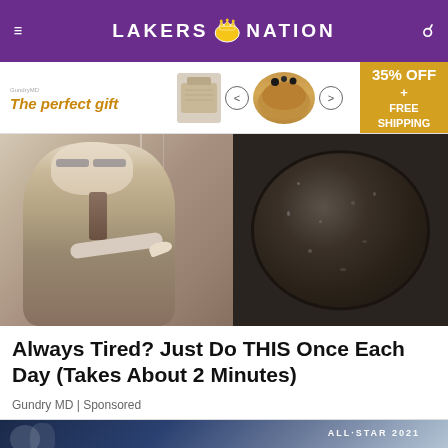LAKERS NATION
[Figure (photo): Advertisement banner: 'The perfect gift' with product images and '35% OFF + FREE SHIPPING' offer]
[Figure (photo): Sponsored article image showing an elderly man in a suit pointing at a dark grainy substance in a pan]
Always Tired? Just Do THIS Once Each Day (Takes About 2 Minutes)
Gundry MD | Sponsored
[Figure (photo): Bottom teaser image showing what appears to be an All-Star 2021 event]